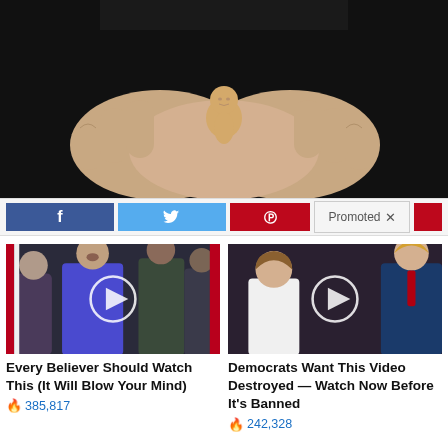[Figure (photo): Hands cupped together holding a small fetal figurine/model against a dark background]
[Figure (infographic): Social sharing bar with Facebook, Twitter, Pinterest buttons and a Promoted label with X close button]
[Figure (photo): Thumbnail of political figures including Nancy Pelosi with a video play button overlay]
Every Believer Should Watch This (It Will Blow Your Mind)
385,817
[Figure (photo): Thumbnail of Melania Trump and Donald Trump with a video play button overlay]
Democrats Want This Video Destroyed — Watch Now Before It's Banned
242,328